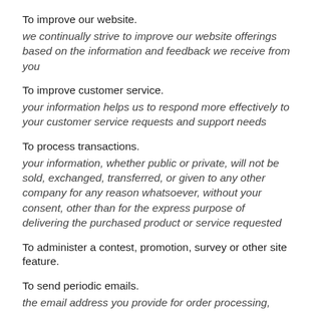To improve our website.
we continually strive to improve our website offerings based on the information and feedback we receive from you
To improve customer service.
your information helps us to respond more effectively to your customer service requests and support needs
To process transactions.
your information, whether public or private, will not be sold, exchanged, transferred, or given to any other company for any reason whatsoever, without your consent, other than for the express purpose of delivering the purchased product or service requested
To administer a contest, promotion, survey or other site feature.
To send periodic emails.
the email address you provide for order processing, may be used to send you information and updates pertaining to your order, in addition